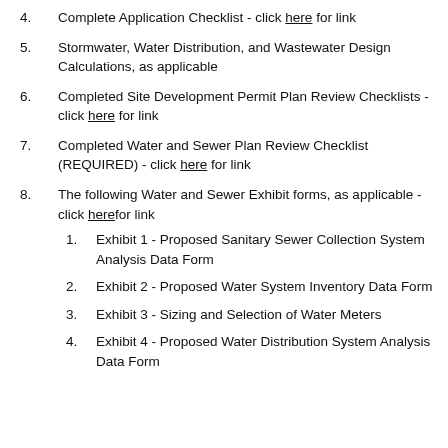Complete Application Checklist - click here for link
Stormwater, Water Distribution, and Wastewater Design Calculations, as applicable
Completed Site Development Permit Plan Review Checklists - click here for link
Completed Water and Sewer Plan Review Checklist (REQUIRED) - click here for link
The following Water and Sewer Exhibit forms, as applicable - click here for link
Exhibit 1 - Proposed Sanitary Sewer Collection System Analysis Data Form
Exhibit 2 - Proposed Water System Inventory Data Form
Exhibit 3 - Sizing and Selection of Water Meters
Exhibit 4 - Proposed Water Distribution System Analysis Data Form